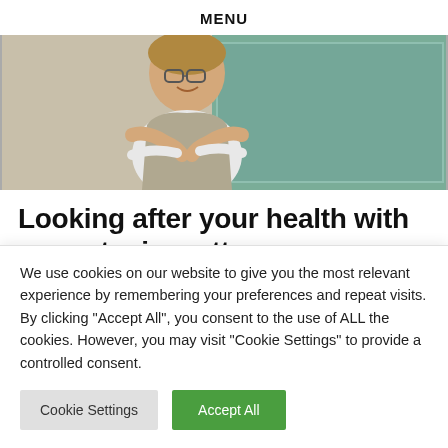MENU
[Figure (photo): A child wearing glasses and a grey knit vest, smiling with arms crossed, photographed in front of a green chalkboard background.]
Looking after your health with a non-toxic mattress
We use cookies on our website to give you the most relevant experience by remembering your preferences and repeat visits. By clicking "Accept All", you consent to the use of ALL the cookies. However, you may visit "Cookie Settings" to provide a controlled consent.